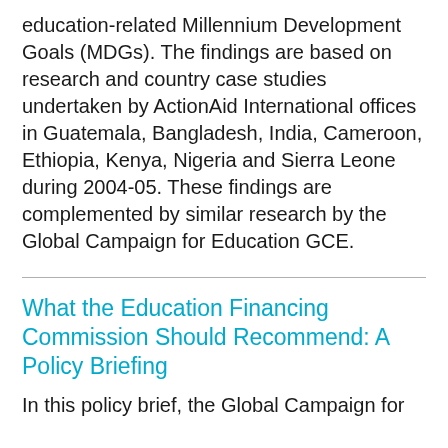education-related Millennium Development Goals (MDGs). The findings are based on research and country case studies undertaken by ActionAid International offices in Guatemala, Bangladesh, India, Cameroon, Ethiopia, Kenya, Nigeria and Sierra Leone during 2004-05. These findings are complemented by similar research by the Global Campaign for Education GCE.
What the Education Financing Commission Should Recommend: A Policy Briefing
In this policy brief, the Global Campaign for